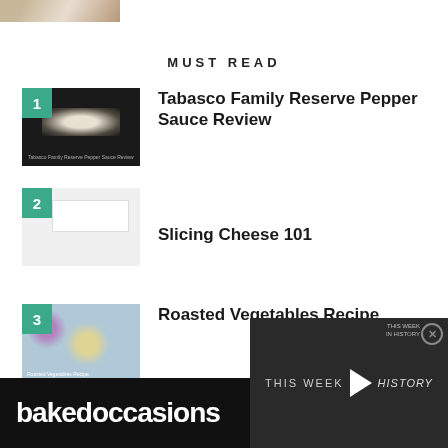[Figure (photo): Partial food photo at top left corner]
MUST READ
1 - Tabasco Family Reserve Pepper Sauce Review
2 - Slicing Cheese 101
3 - Roasted Vegetables Recipe
[Figure (screenshot): Video player overlay showing THIS WEEK IN HISTORY with play button, dark background]
bakedoccasions